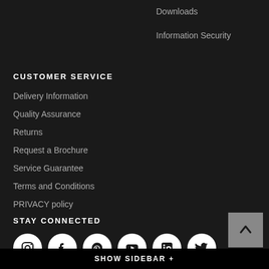Downloads
Information Security
CUSTOMER SERVICE
Delivery Information
Quality Assurance
Returns
Request a Brochure
Service Guarantee
Terms and Conditions
PRIVACY policy
STAY CONNECTED
[Figure (other): Social media icons: Instagram, Facebook, Pinterest, YouTube, LinkedIn, Twitter]
SHOW SIDEBAR +